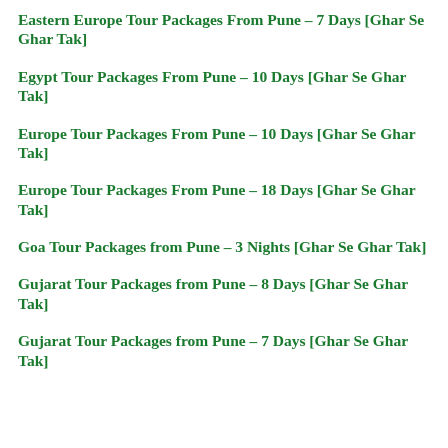Eastern Europe Tour Packages From Pune – 7 Days [Ghar Se Ghar Tak]
Egypt Tour Packages From Pune – 10 Days [Ghar Se Ghar Tak]
Europe Tour Packages From Pune – 10 Days [Ghar Se Ghar Tak]
Europe Tour Packages From Pune – 18 Days [Ghar Se Ghar Tak]
Goa Tour Packages from Pune – 3 Nights [Ghar Se Ghar Tak]
Gujarat Tour Packages from Pune – 8 Days [Ghar Se Ghar Tak]
Gujarat Tour Packages from Pune – 7 Days [Ghar Se Ghar Tak]